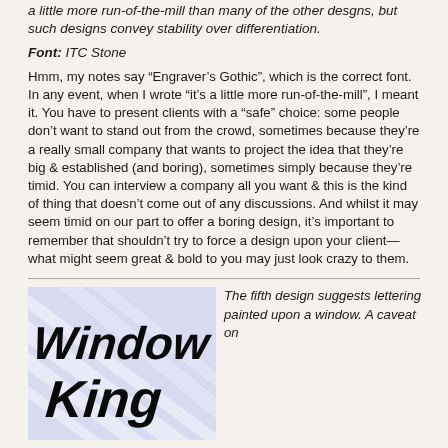a little more run-of-the-mill than many of the other desgns, but such designs convey stability over differentiation.
Font: ITC Stone
Hmm, my notes say “Engraver’s Gothic”, which is the correct font. In any event, when I wrote “it’s a little more run-of-the-mill”, I meant it. You have to present clients with a “safe” choice: some people don’t want to stand out from the crowd, sometimes because they’re a really small company that wants to project the idea that they’re big & established (and boring), sometimes simply because they’re timid. You can interview a company all you want & this is the kind of thing that doesn’t come out of any discussions. And whilst it may seem timid on our part to offer a boring design, it’s important to remember that shouldn’t try to force a design upon your client—what might seem great & bold to you may just look crazy to them.
[Figure (logo): Window King logo: bold italic black text 'Window King' on a light blue/lavender diagonal striped background]
The fifth design suggests lettering painted upon a window. A caveat on